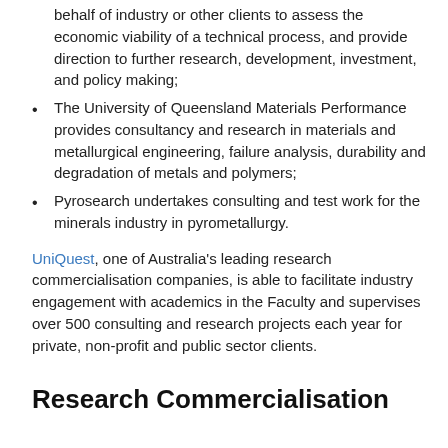behalf of industry or other clients to assess the economic viability of a technical process, and provide direction to further research, development, investment, and policy making;
The University of Queensland Materials Performance provides consultancy and research in materials and metallurgical engineering, failure analysis, durability and degradation of metals and polymers;
Pyrosearch undertakes consulting and test work for the minerals industry in pyrometallurgy.
UniQuest, one of Australia's leading research commercialisation companies, is able to facilitate industry engagement with academics in the Faculty and supervises over 500 consulting and research projects each year for private, non-profit and public sector clients.
Research Commercialisation